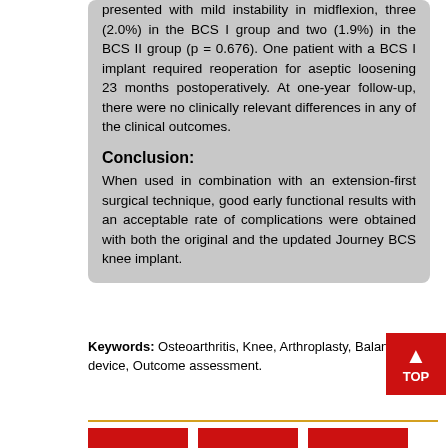presented with mild instability in midflexion, three (2.0%) in the BCS I group and two (1.9%) in the BCS II group (p = 0.676). One patient with a BCS I implant required reoperation for aseptic loosening 23 months postoperatively. At one-year follow-up, there were no clinically relevant differences in any of the clinical outcomes.
Conclusion:
When used in combination with an extension-first surgical technique, good early functional results with an acceptable rate of complications were obtained with both the original and the updated Journey BCS knee implant.
Keywords: Osteoarthritis, Knee, Arthroplasty, Balancer device, Outcome assessment.